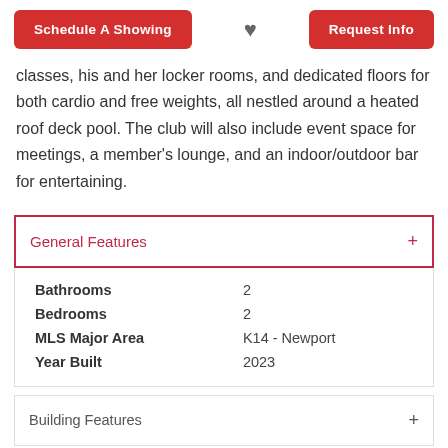[Figure (other): Top navigation bar with Schedule A Showing button (red), heart icon, and Request Info button (red)]
classes, his and her locker rooms, and dedicated floors for both cardio and free weights, all nestled around a heated roof deck pool. The club will also include event space for meetings, a member's lounge, and an indoor/outdoor bar for entertaining.
General Features
| Feature | Value |
| --- | --- |
| Bathrooms | 2 |
| Bedrooms | 2 |
| MLS Major Area | K14 - Newport |
| Year Built | 2023 |
Building Features